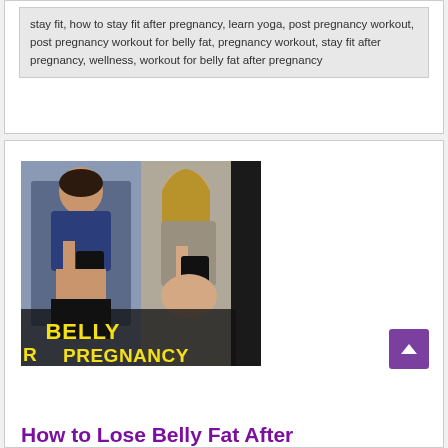stay fit, how to stay fit after pregnancy, learn yoga, post pregnancy workout, post pregnancy workout for belly fat, pregnancy workout, stay fit after pregnancy, wellness, workout for belly fat after pregnancy
[Figure (photo): Composite photo of two women taking mirror selfies showing before/after pregnancy body, with bold yellow text overlay reading 'BELLY PREGNANCY']
How to Lose Belly Fat After